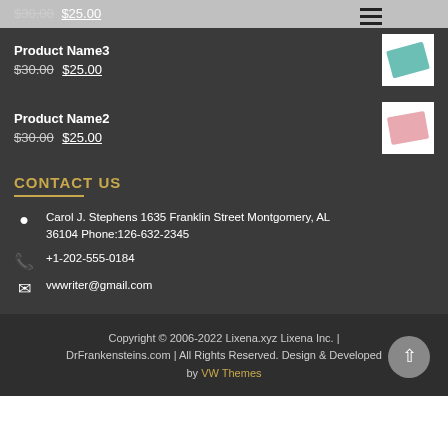$30.00 $25.00
Product Name3
$30.00 $25.00
Product Name2
$30.00 $25.00
CONTACT US
Carol J. Stephens 1635 Franklin Street Montgomery, AL 36104 Phone:126-632-2345
+1-202-555-0184
vwwriter@gmail.com
Copyright © 2006-2022 Lixena.xyz Lixena Inc. | DrFrankensteins.com | All Rights Reserved. Design & Developed by VW Themes